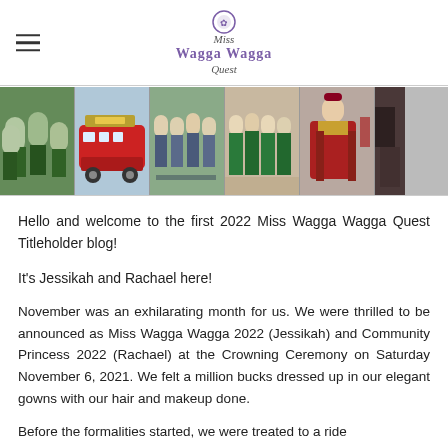Miss Wagga Wagga Quest (logo)
[Figure (photo): A horizontal strip of 6 event photos showing women in formal gowns and sashes at various Miss Wagga Wagga Quest events.]
Hello and welcome to the first 2022 Miss Wagga Wagga Quest Titleholder blog!
It's Jessikah and Rachael here!
November was an exhilarating month for us. We were thrilled to be announced as Miss Wagga Wagga 2022 (Jessikah) and Community Princess 2022 (Rachael) at the Crowning Ceremony on Saturday November 6, 2021. We felt a million bucks dressed up in our elegant gowns with our hair and makeup done.
Before the formalities started, we were treated to a ride